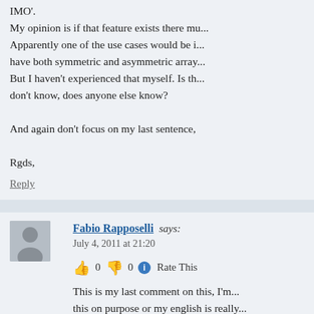IMO'.
My opinion is if that feature exists there mu...
Apparently one of the use cases would be i... have both symmetric and asymmetric array...
But I haven't experienced that myself. Is th... don't know, does anyone else know?

And again don't focus on my last sentence,

Rgds,
Reply
Fabio Rapposelli says:
July 4, 2011 at 21:20
👍 0 👎 0 ℹ️ Rate This
This is my last comment on this, I'm... this on purpose or my english is really...